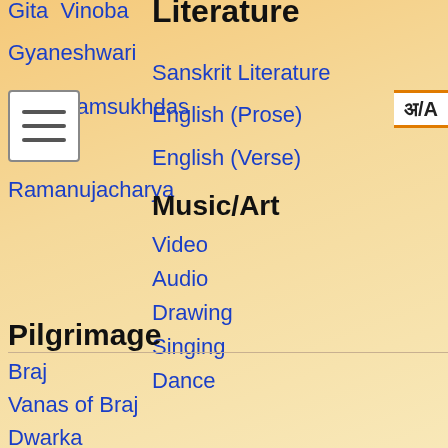Gita Vinoba
Literature
Gyaneshwari
Sanskrit Literature
Gita Ramsukhdas
English (Prose)
English (Verse)
[Figure (other): Hamburger menu button (three horizontal lines) in white box]
[Figure (other): Language toggle button showing अ/A in white box with orange borders]
Ramanujacharya
Music/Art
Video
Audio
Drawing
Singing
Dance
Pilgrimage
Braj
Vanas of Braj
Dwarka
Braj 84 Kos Yatra